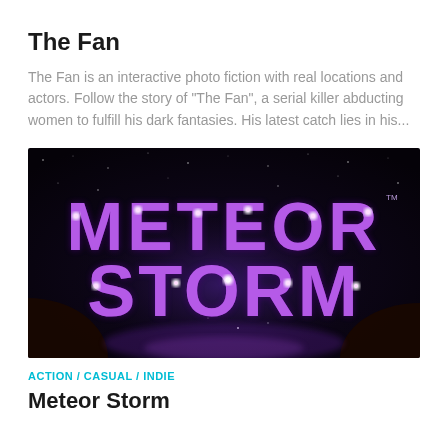The Fan
The Fan is an interactive photo fiction with real locations and actors. Follow the story of "The Fan", a serial killer abducting women to fulfill his dark fantasies. His latest catch lies in his...
[Figure (illustration): Meteor Storm game logo — glowing purple 3D letters spelling METEOR STORM on a dark space background with stars and cosmic light effects. TM mark visible in upper right.]
ACTION / CASUAL / INDIE
Meteor Storm